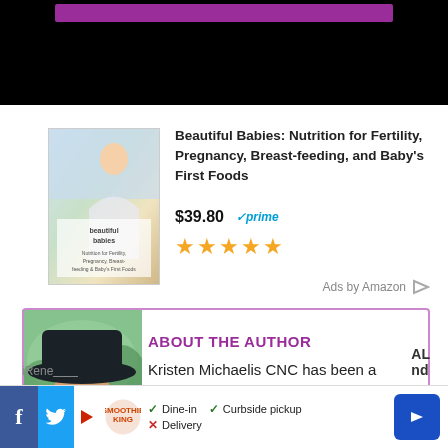[Figure (screenshot): Top black banner with purple highlight bar, website header area]
[Figure (photo): Book cover for Beautiful Babies: Nutrition for Fertility, Pregnancy, Breast-feeding, and Baby's First Foods]
Beautiful Babies: Nutrition for Fertility, Pregnancy, Breast-feeding, and Baby's First Foods
$39.80 ✓prime
[Figure (other): Five golden star rating]
Ads by Amazon
ABOUT THE AUTHOR
[Figure (photo): Photo of Kristen Michaelis wearing a wide-brimmed hat, outdoors]
Kristen Michaelis CNC has been a Health and Nutrition Educator since 2008. Founder and CEO of Food
[Figure (screenshot): Footer bar with Facebook, Twitter, Smoothie King ad showing Dine-in, Curbside pickup, Delivery options and navigation icon]